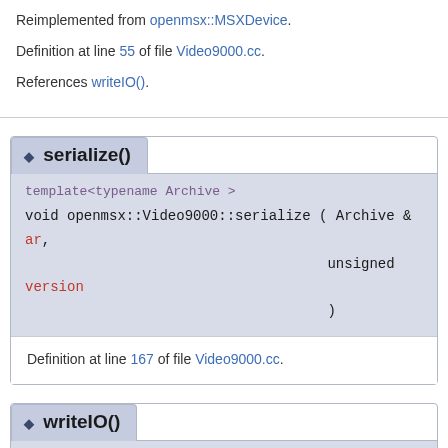Reimplemented from openmsx::MSXDevice.
Definition at line 55 of file Video9000.cc.
References writeIO().
◆ serialize()
template<typename Archive >
void openmsx::Video9000::serialize ( Archive &  ar,
  unsigned  version
 )
Definition at line 167 of file Video9000.cc.
◆ writeIO()
void